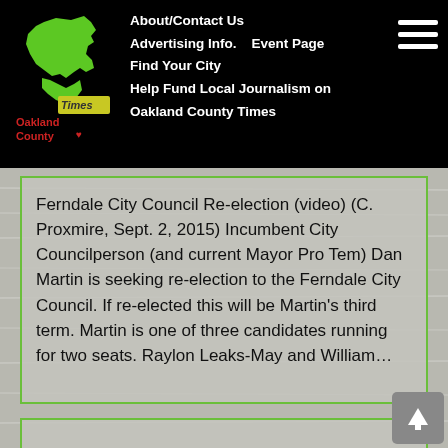About/Contact Us  Advertising Info.  Event Page  Find Your City  Help Fund Local Journalism on Oakland County Times
[Figure (logo): Oakland County Times logo — green Michigan state silhouette with text 'Oakland County Times' in red/white on black background]
Ferndale City Council Re-election (video) (C. Proxmire, Sept. 2, 2015) Incumbent City Councilperson (and current Mayor Pro Tem) Dan Martin is seeking re-election to the Ferndale City Council. If re-elected this will be Martin's third term. Martin is one of three candidates running for two seats. Raylon Leaks-May and William...